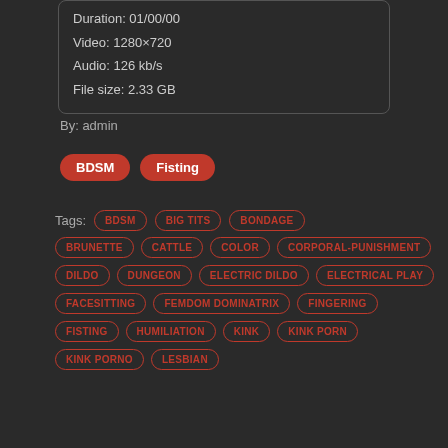Duration: 01/00/00
Video: 1280×720
Audio: 126 kb/s
File size: 2.33 GB
By: admin
BDSM
Fisting
Tags: BDSM BIG TITS BONDAGE BRUNETTE CATTLE COLOR CORPORAL-PUNISHMENT DILDO DUNGEON ELECTRIC DILDO ELECTRICAL PLAY FACESITTING FEMDOM DOMINATRIX FINGERING FISTING HUMILIATION KINK KINK PORN KINK PORNO LESBIAN